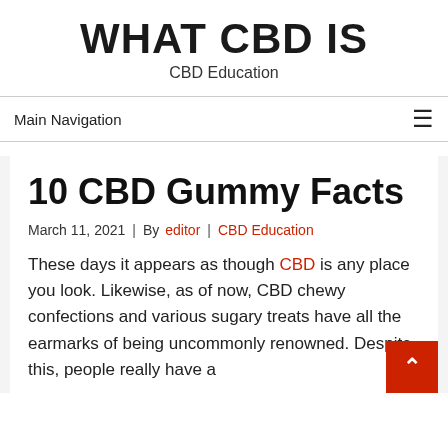WHAT CBD IS
CBD Education
Main Navigation
10 CBD Gummy Facts
March 11, 2021  |  By editor  |  CBD Education
These days it appears as though CBD is any place you look. Likewise, as of now, CBD chewy confections and various sugary treats have all the earmarks of being uncommonly renowned. Despite this, people really have a